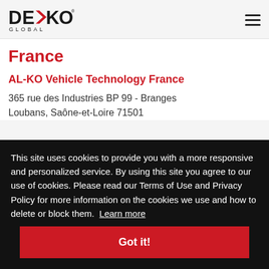DexKo Global [logo] [hamburger menu]
France
AL-KO Vehicle Technology France
365 rue des Industries BP 99 - Branges
Loubans, Saône-et-Loire 71501
This site uses cookies to provide you with a more responsive and personalized service. By using this site you agree to our use of cookies. Please read our Terms of Use and Privacy Policy for more information on the cookies we use and how to delete or block them. Learn more
Got it!